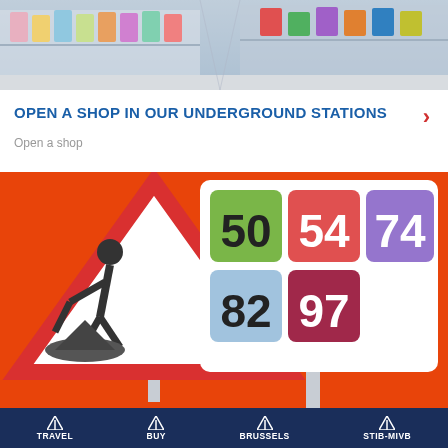[Figure (photo): Top banner photo showing a supermarket/shop aisle with colorful merchandise on shelves]
OPEN A SHOP IN OUR UNDERGROUND STATIONS
Open a shop
[Figure (infographic): Orange background infographic with a road construction warning sign on the left and a bus route number board showing numbers 50, 54, 74, 82, 97 on the right]
TRAVEL   BUY   BRUSSELS   STIB-MIVB